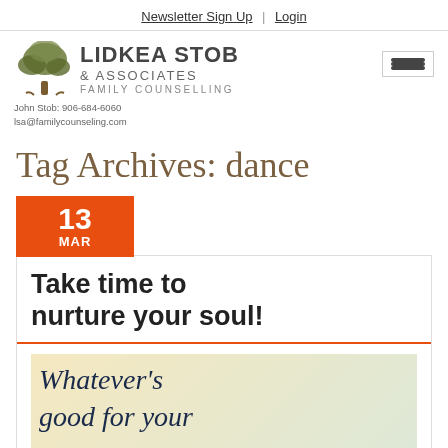Newsletter Sign Up | Login
[Figure (logo): Lidkea Stob & Associates Family Counselling logo with tree icon]
John Stob: 906-684-6060
lsa@familycounseling.com
Tag Archives: dance
13 MAR
Take time to nurture your soul!
[Figure (photo): Handwritten text reading 'Whatever's good for your']